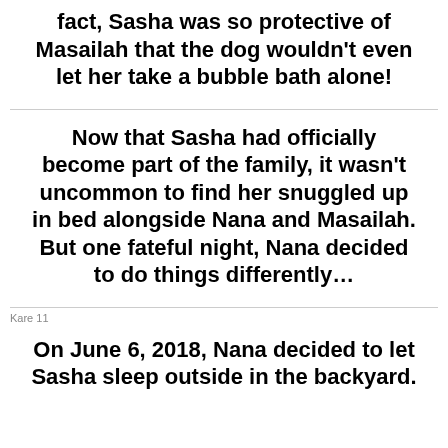fact, Sasha was so protective of Masailah that the dog wouldn't even let her take a bubble bath alone!
Now that Sasha had officially become part of the family, it wasn't uncommon to find her snuggled up in bed alongside Nana and Masailah. But one fateful night, Nana decided to do things differently…
Kare 11
On June 6, 2018, Nana decided to let Sasha sleep outside in the backyard.